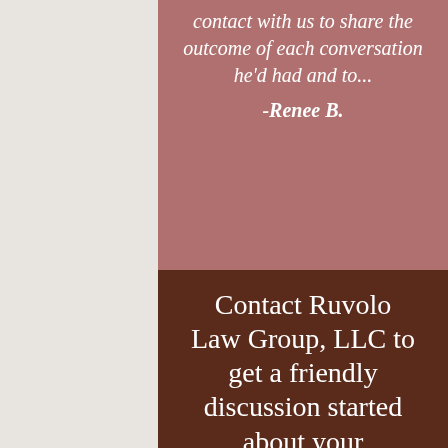contact with us to share the outcome of each conversation he'd had and to...
-Renee B.
Contact Ruvolo Law Group, LLC to get a friendly discussion started about your particular